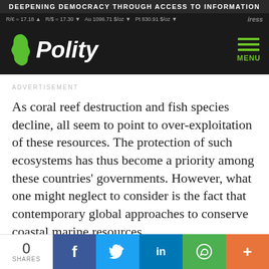DEEPENING DEMOCRACY THROUGH ACCESS TO INFORMATION
R/€ = 17.18 ▲  R/$ = 17.30 ▼  Au 1096.71 $/oz ▼  Pt 830.91 $/oz ▼  iress
[Figure (logo): Polity logo with Africa continent icon and hamburger menu]
ADVERTISEMENT
As coral reef destruction and fish species decline, all seem to point to over-exploitation of these resources. The protection of such ecosystems has thus become a priority among these countries' governments. However, what one might neglect to consider is the fact that contemporary global approaches to conserve coastal marine resources
0 SHARES | Facebook | Twitter | LinkedIn | WhatsApp | More